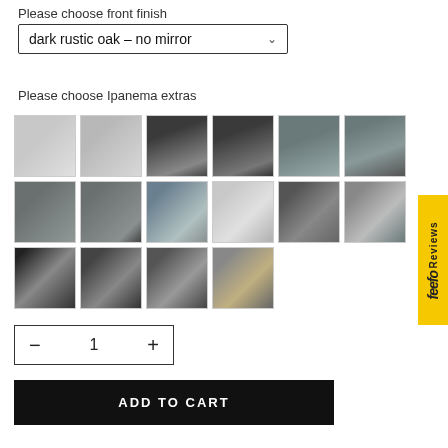Please choose front finish
dark rustic oak - no mirror
Please choose Ipanema extras
[Figure (screenshot): Grid of 16 product thumbnail images showing wardrobe accessories and finishes]
- 1 +
ADD TO CART